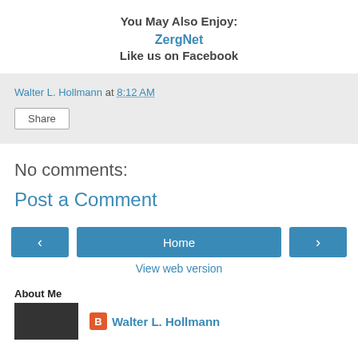You May Also Enjoy:
ZergNet
Like us on Facebook
Walter L. Hollmann at 8:12 AM
Share
No comments:
Post a Comment
‹   Home   ›
View web version
About Me
Walter L. Hollmann